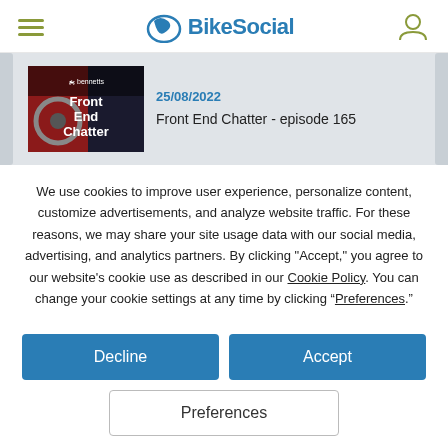BikeSocial
[Figure (screenshot): Article card showing Front End Chatter podcast thumbnail with date 25/08/2022 and title 'Front End Chatter - episode 165']
We use cookies to improve user experience, personalize content, customize advertisements, and analyze website traffic. For these reasons, we may share your site usage data with our social media, advertising, and analytics partners. By clicking "Accept," you agree to our website's cookie use as described in our Cookie Policy. You can change your cookie settings at any time by clicking “Preferences.”
Decline
Accept
Preferences